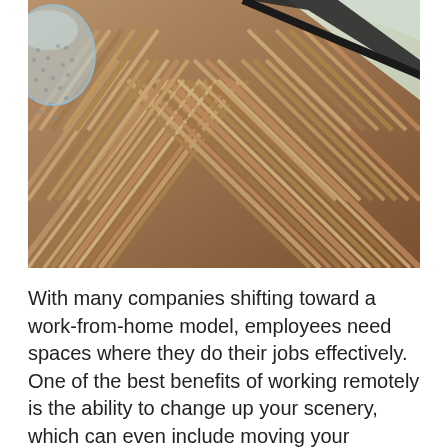[Figure (photo): Close-up photo of a herringbone patterned wooden deck or outdoor furniture surface, with a glass visible in the upper left corner. Dark frame/rail visible along the top right.]
With many companies shifting toward a work-from-home model, employees need spaces where they do their jobs effectively. One of the best benefits of working remotely is the ability to change up your scenery, which can even include moving your workspace to your patio, balcony or